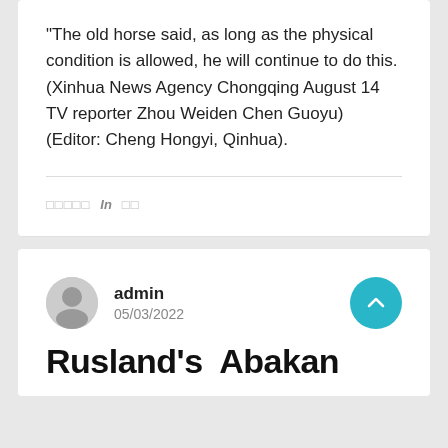"The old horse said, as long as the physical condition is allowed, he will continue to do this. (Xinhua News Agency Chongqing August 14 TV reporter Zhou Weiden Chen Guoyu) (Editor: Cheng Hongyi, Qinhua).
□□□□□  In  □□
admin
05/03/2022
Rusland's  Abakan